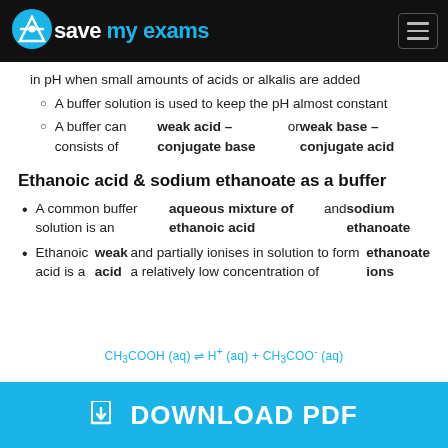Save My Exams
in pH when small amounts of acids or alkalis are added
A buffer solution is used to keep the pH almost constant
A buffer can consists of weak acid - conjugate base or weak base - conjugate acid
Ethanoic acid & sodium ethanoate as a buffer
A common buffer solution is an aqueous mixture of ethanoic acid and sodium ethanoate
Ethanoic acid is a weak acid and partially ionises in solution to form a relatively low concentration of ethanoate ions
DOWNLOAD PDF